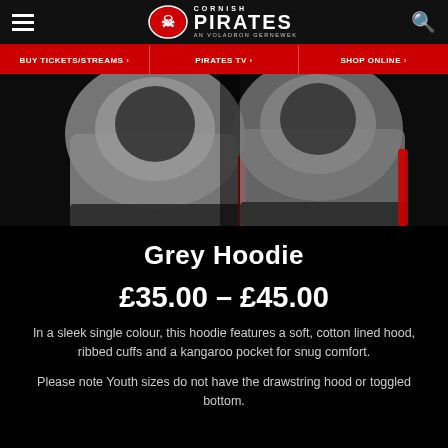Cornish Pirates — AN VOLADRON GERNEWEK
[Figure (photo): Grey hoodie product photo showing two views of a grey and black hoodie against a dark background]
Grey Hoodie
£35.00 – £45.00
In a sleek single colour, this hoodie features a soft, cotton lined hood, ribbed cuffs and a kangaroo pocket for snug comfort.
Please note Youth sizes do not have the drawstring hood or toggled bottom.